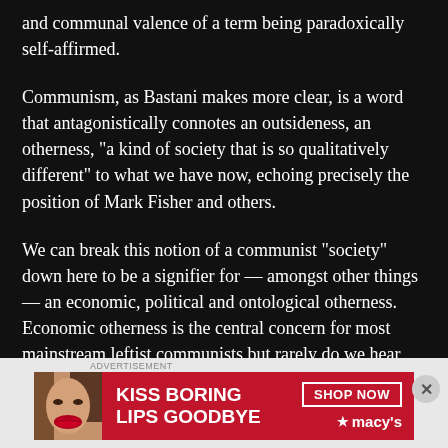and communal valence of a term being paradoxically self-affirmed.
Communism, as Bastani makes more clear, is a word that antagonistically connotes an outsideness, an otherness, "a kind of society that is so qualitatively different" to what we have now, echoing precisely the position of Mark Fisher and others.
We can break this notion of a communist "society" down here to be a signifier for — amongst other things — an economic, political and ontological otherness. Economic otherness is the central concern for most mainstream leftist communists but rarely do we hear
[Figure (photo): Advertisement banner for Macy's lipstick promotion. Shows a woman's face with red lips on a red background. Text reads 'KISS BORING LIPS GOODBYE' with 'SHOP NOW' button and Macy's star logo.]